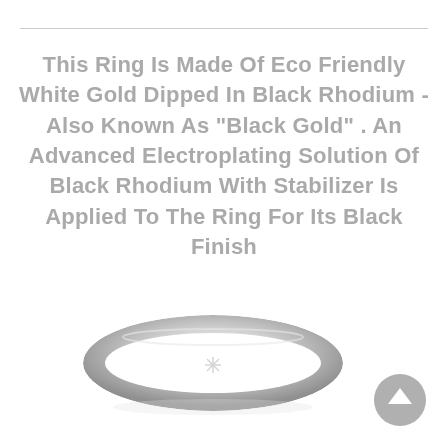This Ring Is Made Of Eco Friendly White Gold Dipped In Black Rhodium - Also Known As "Black Gold" . An Advanced Electroplating Solution Of Black Rhodium With Stabilizer Is Applied To The Ring For Its Black Finish
[Figure (photo): A simple silver/white gold ring shown in a flat oval shape against a white background, with a smooth polished finish.]